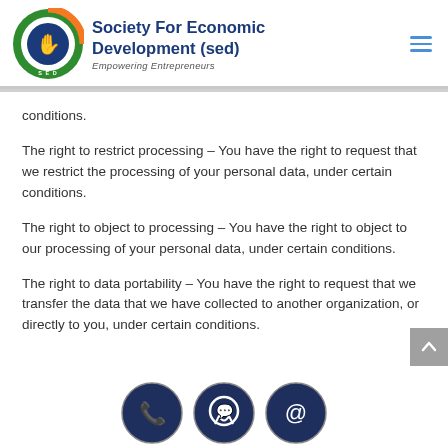[Figure (logo): Society For Economic Development (SED) logo with circular emblem featuring orange, green, and blue colors with a hand symbol, alongside the organization name and tagline 'Empowering Entrepreneurs']
conditions.
The right to restrict processing – You have the right to request that we restrict the processing of your personal data, under certain conditions.
The right to object to processing – You have the right to object to our processing of your personal data, under certain conditions.
The right to data portability – You have the right to request that we transfer the data that we have collected to another organization, or directly to you, under certain conditions.
[Figure (illustration): Three circular dark navy icon buttons at the bottom: phone/call icon, WhatsApp icon, and email/at-sign icon]